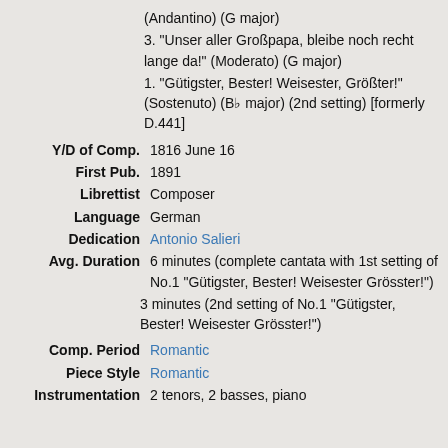(Andantino) (G major)
3. "Unser aller Großpapa, bleibe noch recht lange da!" (Moderato) (G major)
1. "Gütigster, Bester! Weisester, Größter!" (Sostenuto) (B♭ major) (2nd setting) [formerly D.441]
Y/D of Comp. 1816 June 16
First Pub. 1891
Librettist Composer
Language German
Dedication Antonio Salieri
Avg. Duration 6 minutes (complete cantata with 1st setting of No.1 "Gütigster, Bester! Weisester Grösster!")
3 minutes (2nd setting of No.1 "Gütigster, Bester! Weisester Grösster!")
Comp. Period Romantic
Piece Style Romantic
Instrumentation 2 tenors, 2 basses, piano